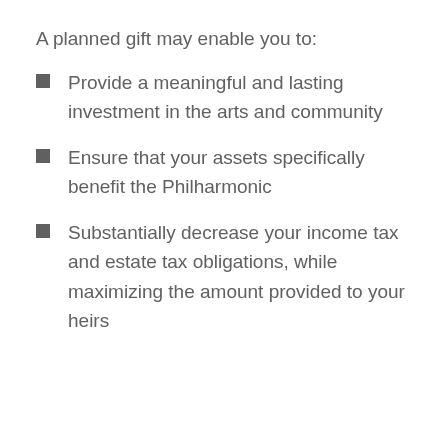A planned gift may enable you to:
Provide a meaningful and lasting investment in the arts and community
Ensure that your assets specifically benefit the Philharmonic
Substantially decrease your income tax and estate tax obligations, while maximizing the amount provided to your heirs